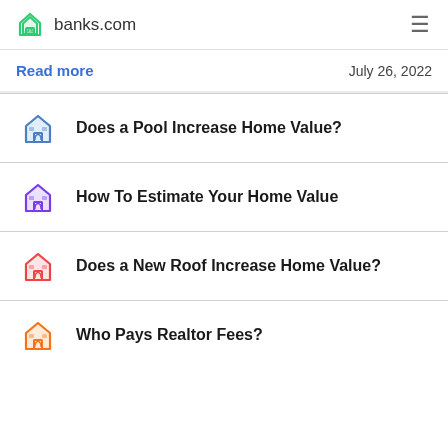banks.com
Read more   July 26, 2022
Does a Pool Increase Home Value?
How To Estimate Your Home Value
Does a New Roof Increase Home Value?
Who Pays Realtor Fees?